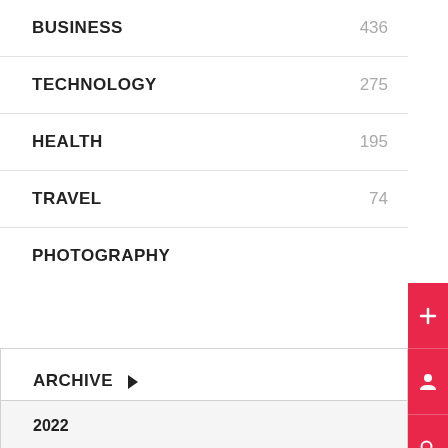BUSINESS 436
TECHNOLOGY 275
HEALTH 195
TRAVEL 74
PHOTOGRAPHY
ARCHIVE ▶
2022